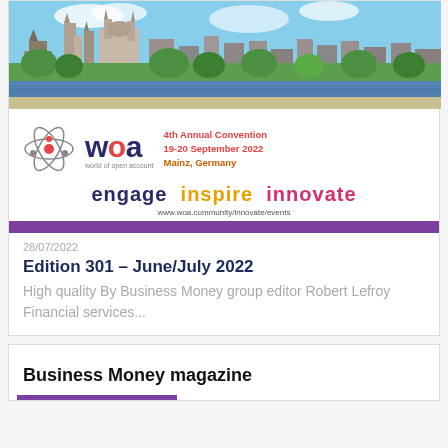[Figure (photo): Aerial/riverside photo of Mainz, Germany showing historic cathedral buildings, trees, and the Rhine river]
[Figure (logo): WOA (World of Open Account) logo with atom icon, event details: 4th Annual Convention, 19-20 September 2022, Mainz, Germany. Tagline: engage inspire innovate. URL: www.woa.community/innovate/events]
28/07/2022
Edition 301 – June/July 2022
High quality By Business Money group editor Robert Lefroy Financial services...
Business Money magazine